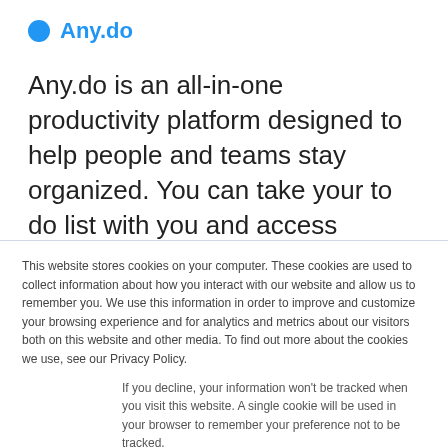[Figure (logo): Any.do logo: blue circle dot followed by blue text 'Any.do']
Any.do is an all-in-one productivity platform designed to help people and teams stay organized. You can take your to do list with you and access Any.do on mobile, laptop, desktop,
This website stores cookies on your computer. These cookies are used to collect information about how you interact with our website and allow us to remember you. We use this information in order to improve and customize your browsing experience and for analytics and metrics about our visitors both on this website and other media. To find out more about the cookies we use, see our Privacy Policy.
If you decline, your information won’t be tracked when you visit this website. A single cookie will be used in your browser to remember your preference not to be tracked.
Accept  Decline